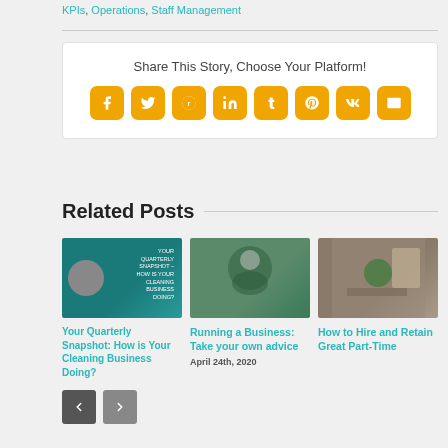KPIs, Operations, Staff Management
Share This Story, Choose Your Platform!
[Figure (infographic): Share buttons row: Facebook, Twitter, Reddit, LinkedIn, Tumblr, Pinterest, VK, Email — all orange with white icons]
Related Posts
[Figure (photo): Thumbnail: Your Quarterly Snapshot – How is Your Cleaning Business Doing? Teal background with woman and text overlay.]
Your Quarterly Snapshot: How is Your Cleaning Business Doing?
[Figure (photo): Thumbnail: Person in green uniform smiling, cleaning business related.]
Running a Business: Take your own advice
April 24th, 2020
[Figure (photo): Thumbnail: Cleaners with green vacuum in a living room setting.]
How to Hire and Retain Great Part-Time